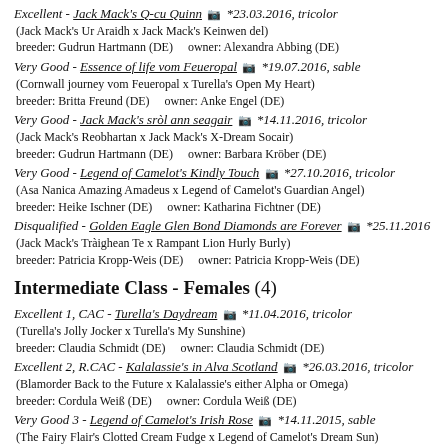Excellent - Jack Mack's Q-cu Quinn 📷 *23.03.2016, tricolor
(Jack Mack's Ur Araidh x Jack Mack's Keinwen del)
breeder: Gudrun Hartmann (DE)   owner: Alexandra Abbing (DE)
Very Good - Essence of life vom Feueropal 📷 *19.07.2016, sable
(Cornwall journey vom Feueropal x Turella's Open My Heart)
breeder: Britta Freund (DE)   owner: Anke Engel (DE)
Very Good - Jack Mack's sròl ann seagair 📷 *14.11.2016, tricolor
(Jack Mack's Reobhartan x Jack Mack's X-Dream Socair)
breeder: Gudrun Hartmann (DE)   owner: Barbara Kröber (DE)
Very Good - Legend of Camelot's Kindly Touch 📷 *27.10.2016, tricolor
(Asa Nanica Amazing Amadeus x Legend of Camelot's Guardian Angel)
breeder: Heike Ischner (DE)   owner: Katharina Fichtner (DE)
Disqualified - Golden Eagle Glen Bond Diamonds are Forever 📷 *25.11.2016
(Jack Mack's Tràighean Te x Rampant Lion Hurly Burly)
breeder: Patricia Kropp-Weis (DE)   owner: Patricia Kropp-Weis (DE)
Intermediate Class - Females (4)
Excellent 1, CAC - Turella's Daydream 📷 *11.04.2016, tricolor
(Turella's Jolly Jocker x Turella's My Sunshine)
breeder: Claudia Schmidt (DE)   owner: Claudia Schmidt (DE)
Excellent 2, R.CAC - Kalalassie's in Alva Scotland 📷 *26.03.2016, tricolor
(Blamorder Back to the Future x Kalalassie's either Alpha or Omega)
breeder: Cordula Weiß (DE)   owner: Cordula Weiß (DE)
Very Good 3 - Legend of Camelot's Irish Rose 📷 *14.11.2015, sable
(The Fairy Flair's Clotted Cream Fudge x Legend of Camelot's Dream Sun)